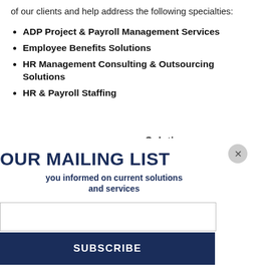of our clients and help address the following specialties:
ADP Project & Payroll Management Services
Employee Benefits Solutions
HR Management Consulting & Outsourcing Solutions
HR & Payroll Staffing
Solutions
OUR MAILING LIST
you informed on current solutions and services
utions designed ategies and was established apolis, s the country. on as a full es. Our clients nd services of
SUBSCRIBE